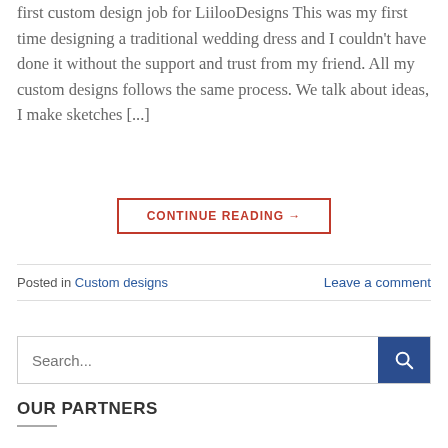first custom design job for LiilooDesigns This was my first time designing a traditional wedding dress and I couldn't have done it without the support and trust from my friend. All my custom designs follows the same process. We talk about ideas, I make sketches [...]
CONTINUE READING →
Posted in Custom designs    Leave a comment
Search...
OUR PARTNERS